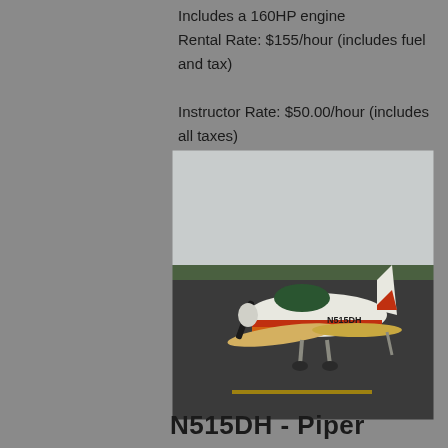Includes a 160HP engine
Rental Rate: $155/hour (includes fuel and tax)
Instructor Rate: $50.00/hour (includes all taxes)
[Figure (photo): Small single-engine Piper aircraft (registration N515DH) parked on an airport tarmac. White fuselage with red and orange accent stripes. Cloudy sky background with runway visible.]
N515DH - Piper